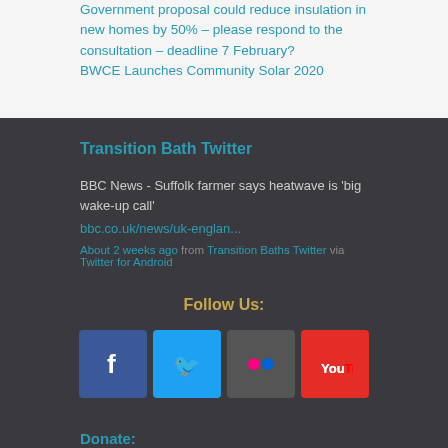Government proposal could reduce insulation in new homes by 50% – please respond to the consultation – deadline 7 February?
BWCE Launches Community Solar 2020
Transition Bath Twitter
BBC News - Suffolk farmer says heatwave is 'big wake-up call'
bbc.co.uk/news/uk-englan...
About 2 weeks ago from Transition Baths Twitter via Twitter for Android
Follow Us:
[Figure (infographic): Social media icons: Facebook, Twitter, Flickr, YouTube]
Donate:
Transition Bath needs your help to keep going. Please donate or